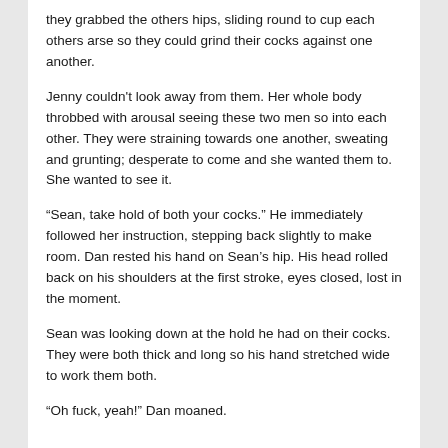they grabbed the others hips, sliding round to cup each others arse so they could grind their cocks against one another.
Jenny couldn't look away from them. Her whole body throbbed with arousal seeing these two men so into each other. They were straining towards one another, sweating and grunting; desperate to come and she wanted them to. She wanted to see it.
“Sean, take hold of both your cocks.” He immediately followed her instruction, stepping back slightly to make room. Dan rested his hand on Sean’s hip. His head rolled back on his shoulders at the first stroke, eyes closed, lost in the moment.
Sean was looking down at the hold he had on their cocks. They were both thick and long so his hand stretched wide to work them both.
“Oh fuck, yeah!” Dan moaned.